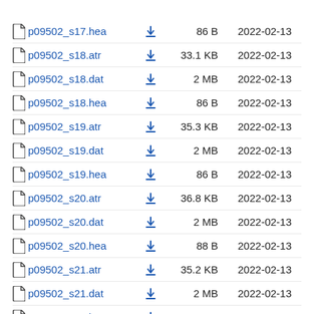p09502_s17.hea  86 B  2022-02-13
p09502_s18.atr  33.1 KB  2022-02-13
p09502_s18.dat  2 MB  2022-02-13
p09502_s18.hea  86 B  2022-02-13
p09502_s19.atr  35.3 KB  2022-02-13
p09502_s19.dat  2 MB  2022-02-13
p09502_s19.hea  86 B  2022-02-13
p09502_s20.atr  36.8 KB  2022-02-13
p09502_s20.dat  2 MB  2022-02-13
p09502_s20.hea  88 B  2022-02-13
p09502_s21.atr  35.2 KB  2022-02-13
p09502_s21.dat  2 MB  2022-02-13
p09502_s21.hea  86 B  2022-02-13